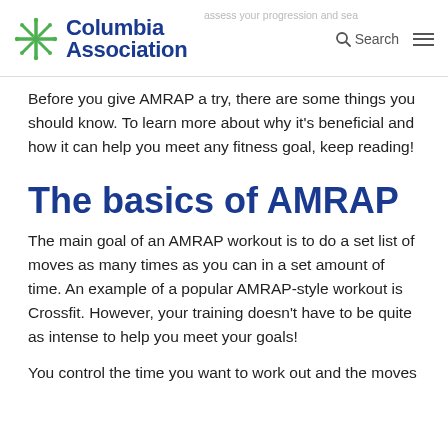Columbia Association — Search
Before you give AMRAP a try, there are some things you should know. To learn more about why it's beneficial and how it can help you meet any fitness goal, keep reading!
The basics of AMRAP
The main goal of an AMRAP workout is to do a set list of moves as many times as you can in a set amount of time. An example of a popular AMRAP-style workout is Crossfit. However, your training doesn't have to be quite as intense to help you meet your goals!
You control the time you want to work out and the moves